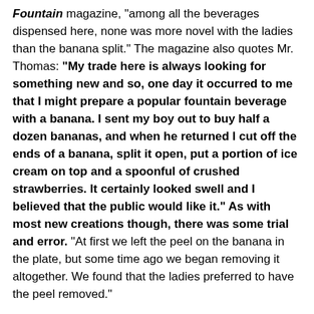Fountain magazine, "among all the beverages dispensed here, none was more novel with the ladies than the banana split." The magazine also quotes Mr. Thomas: "My trade here is always looking for something new and so, one day it occurred to me that I might prepare a popular fountain beverage with a banana. I sent my boy out to buy half a dozen bananas, and when he returned I cut off the ends of a banana, split it open, put a portion of ice cream on top and a spoonful of crushed strawberries. It certainly looked swell and I believed that the public would like it." As with most new creations though, there was some trial and error. "At first we left the peel on the banana in the plate, but some time ago we began removing it altogether. We found that the ladies preferred to have the peel removed."
Banana Split
"Split" Bananas (with peel on) lengthwise. Mix sugar and cinnamon and sprinkle on the cut sides of bananas. Let sit for several minutes. Grill bananas cut side down on direct